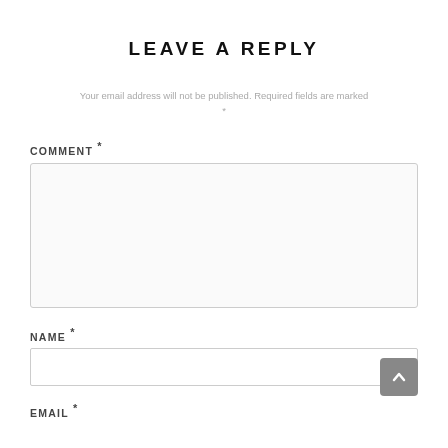LEAVE A REPLY
Your email address will not be published. Required fields are marked *
COMMENT *
NAME *
EMAIL *